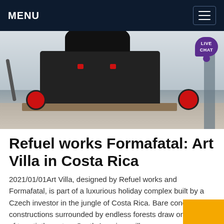MENU
[Figure (photo): Industrial machine (large black crusher/grinder equipment on wooden pallets) in a factory/warehouse setting, with red wheel components visible. A purple 'LIVE CHAT' speech bubble is overlaid in the top-right corner of the image.]
Refuel works Formafatal: Art Villa in Costa Rica
2021/01/01Art Villa, designed by Refuel works and Formafatal, is part of a luxurious holiday complex built by a Czech investor in the jungle of Costa Rica. Bare concrete constructions surrounded by endless forests draw on tradition of twentieth-century South American villas.